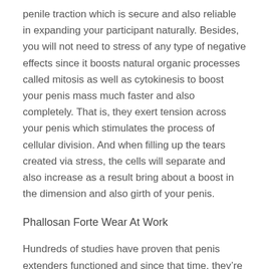penile traction which is secure and also reliable in expanding your participant naturally. Besides, you will not need to stress of any type of negative effects since it boosts natural organic processes called mitosis as well as cytokinesis to boost your penis mass much faster and also completely. That is, they exert tension across your penis which stimulates the process of cellular division. And when filling up the tears created via stress, the cells will separate and also increase as a result bring about a boost in the dimension and also girth of your penis.
Phallosan Forte Wear At Work
Hundreds of studies have proven that penis extenders functioned and since that time, they’re now popular across the world where men use